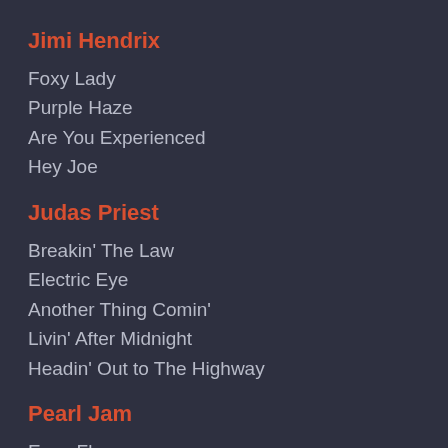Jimi Hendrix
Foxy Lady
Purple Haze
Are You Experienced
Hey Joe
Judas Priest
Breakin' The Law
Electric Eye
Another Thing Comin'
Livin' After Midnight
Headin' Out to The Highway
Pearl Jam
Even Flow
Jeremy